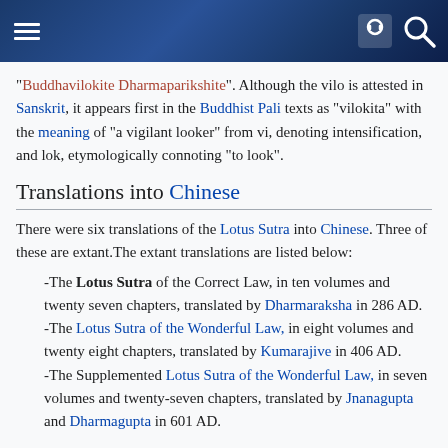Wikipedia page header with hamburger menu, face icon, and search icon
"Buddhavilokite Dharmaparikshite". Although the vilo is attested in Sanskrit, it appears first in the Buddhist Pali texts as "vilokita" with the meaning of "a vigilant looker" from vi, denoting intensification, and lok, etymologically connoting "to look".
Translations into Chinese
There were six translations of the Lotus Sutra into Chinese. Three of these are extant.The extant translations are listed below:
-The Lotus Sutra of the Correct Law, in ten volumes and twenty seven chapters, translated by Dharmaraksha in 286 AD.
-The Lotus Sutra of the Wonderful Law, in eight volumes and twenty eight chapters, translated by Kumarajive in 406 AD.
-The Supplemented Lotus Sutra of the Wonderful Law, in seven volumes and twenty-seven chapters, translated by Jnanagupta and Dharmagupta in 601 AD.
Content
This Sutra is known for its extensive instruction on the concept and